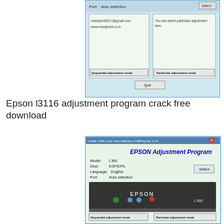[Figure (screenshot): Epson Adjustment Program dialog box showing Port: Auto selection, two panels with text and two buttons: Sequential adjustment mode and Particular adjustment mode, and a Quit button]
Epson l3116 adjustment program crack free download
[Figure (screenshot): EPSON Adjustment Program window with title bar 'model: L360, port: Auto selection | AdjProg Ver 1.0.0', showing EPSON Adjustment Program header in blue bold, Model: L360, Dest: ESP/EPIL, Language: English, Port: Auto selection, Select button, photo of Epson L360 printer, Sequential adjustment mode and Particular adjustment mode buttons, and Quit button]